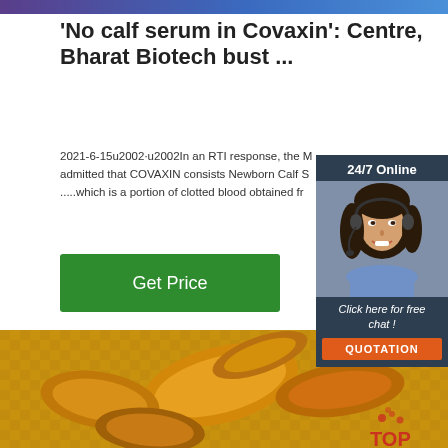[Figure (other): Purple-blue gradient banner strip at top of page]
'No calf serum in Covaxin': Centre, Bharat Biotech bust ...
2021-6-15u2002·u2002In an RTI response, the M admitted that COVAXIN consists Newborn Calf S .....which is a portion of clotted blood obtained fr
[Figure (other): Green 'Get Price' button]
[Figure (photo): Advertisement panel with woman wearing headset, '24/7 Online' label, 'Click here for free chat!' text, and orange QUOTATION button]
[Figure (photo): Photo of dried turmeric root slices on a woven basket background, with TOP logo watermark in bottom right]